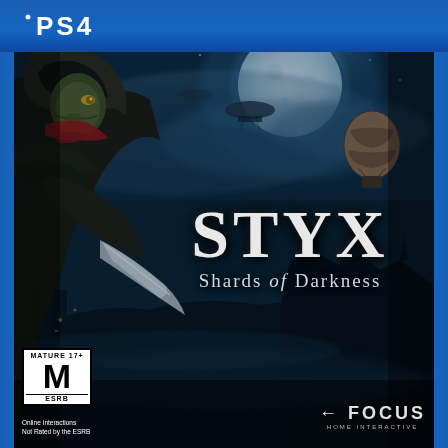[Figure (photo): PlayStation 4 game cover for Styx: Shards of Darkness. Features a dark fantasy/steampunk night scene with a goblin assassin character in a hood on the left holding a blade, a large full moon in the background, airships and a hot air balloon in the sky, and a dark fortress/city below. The PS4 logo appears in a blue banner at the top. The game title 'STYX Shards of Darkness' is displayed in silver/white text in the center-right. An ESRB Mature 17+ rating box appears in the bottom-left corner. The Focus Home Interactive logo appears in the bottom-right corner.]